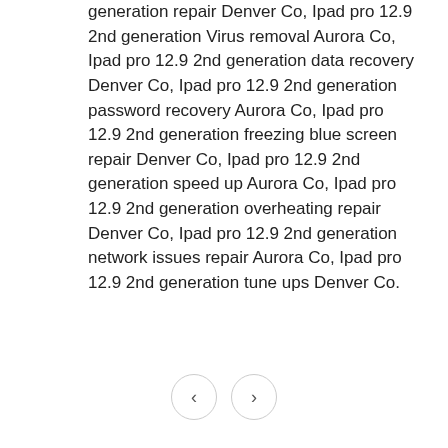generation repair Denver Co, Ipad pro 12.9 2nd generation Virus removal Aurora Co, Ipad pro 12.9 2nd generation data recovery Denver Co, Ipad pro 12.9 2nd generation password recovery Aurora Co, Ipad pro 12.9 2nd generation freezing blue screen repair Denver Co, Ipad pro 12.9 2nd generation speed up Aurora Co, Ipad pro 12.9 2nd generation overheating repair Denver Co, Ipad pro 12.9 2nd generation network issues repair Aurora Co, Ipad pro 12.9 2nd generation tune ups Denver Co.